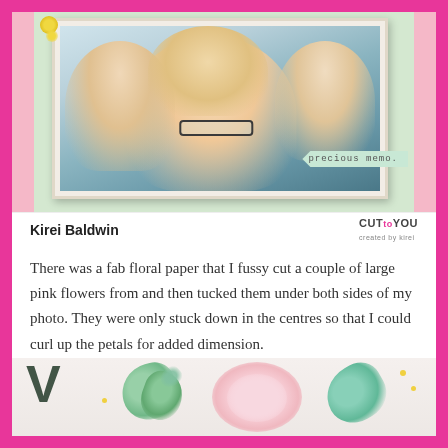[Figure (photo): Scrapbook layout photo showing a group of women smiling at the camera, mounted on a decorated background with a banner tag reading 'precious memo.' Decorated with pink and mint green embellishments.]
Kirei Baldwin
CUTtoYOU
There was a fab floral paper that I fussy cut a couple of large pink flowers from and then tucked them under both sides of my photo. They were only stuck down in the centres so that I could curl up the petals for added dimension.
[Figure (photo): Bottom portion of a scrapbook craft project showing pink flower cutouts, mint green leaves, butterfly, and decorative letter elements on a light background with yellow dot accents.]